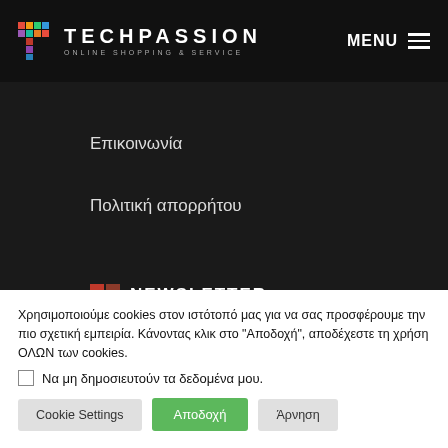TECHPASSION ONLINE SHOPPING & SERVICE | MENU
Επικοινωνία
Πολιτική απορρήτου
NEWSLETTER
Χρησιμοποιούμε cookies στον ιστότοπό μας για να σας προσφέρουμε την πιο σχετική εμπειρία. Κάνοντας κλικ στο "Αποδοχή", αποδέχεστε τη χρήση ΟΛΩΝ των cookies.
Να μη δημοσιευτούν τα δεδομένα μου.
Cookie Settings | Αποδοχή | Άρνηση